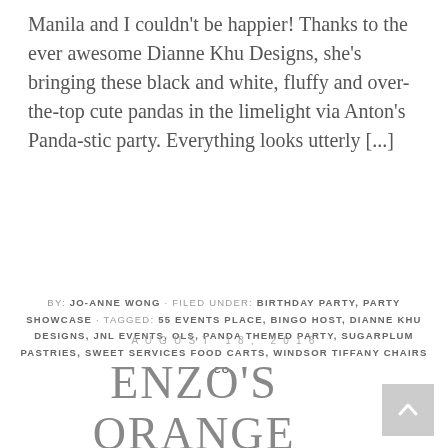Manila and I couldn't be happier! Thanks to the ever awesome Dianne Khu Designs, she's bringing these black and white, fluffy and over-the-top cute pandas in the limelight via Anton's Panda-stic party. Everything looks utterly [...]
BY: JO-ANNE WONG · FILED UNDER: BIRTHDAY PARTY, PARTY SHOWCASE · TAGGED: 55 EVENTS PLACE, BINGO HOST, DIANNE KHU DESIGNS, JNL EVENTS, OLS, PANDA THEMED PARTY, SUGARPLUM PASTRIES, SWEET SERVICES FOOD CARTS, WINDSOR TIFFANY CHAIRS CO.
AUGUST 18, 2016
ENZO'S ORANGE FARM THEMED